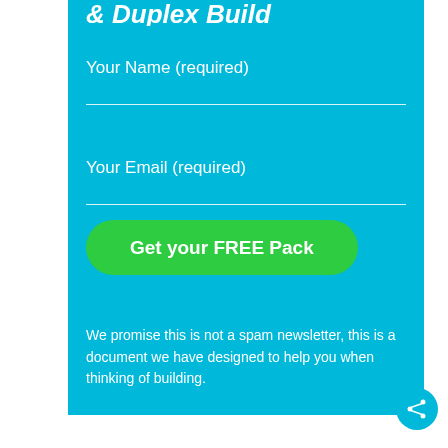& Duplex Build
Your Name (required)
Your Email (required)
Get your FREE Pack
We promise this is not a spam newsletter, this is a document we have designed to help you when thinking of building.